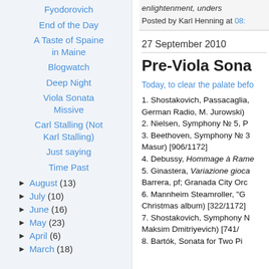Fyodorovich
End of the Day
A Taste of Spaine in Maine
Blogwatch
Deep Night
Viola Sonata Missive
Carl Stalling (Not Karl Stalling)
Just saying
Time Past
August (13)
July (10)
June (16)
May (23)
April (6)
March (18)
enlightenment, unders
Posted by Karl Henning at 08:
27 September 2010
Pre-Viola Sona
Today, to clear the palate befo
1. Shostakovich, Passacaglia, German Radio, M. Jurowski)
2. Nielsen, Symphony № 5, P
3. Beethoven, Symphony № 3 Masur) [906/1172]
4. Debussy, Hommage à Rame
5. Ginastera, Variazione gioca Barrera, pf; Granada City Orc
6. Mannheim Steamroller, "G Christmas album) [322/1172]
7. Shostakovich, Symphony N Maksim Dmitriyevich) [741/
8. Bartók, Sonata for Two Pi